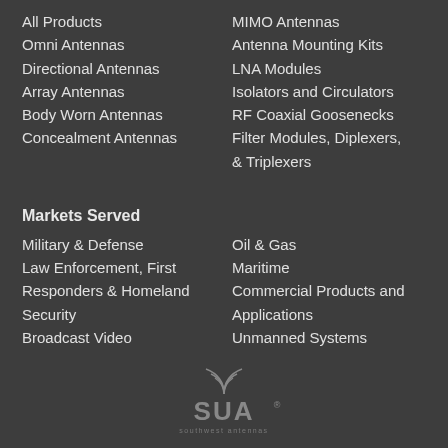All Products
MIMO Antennas
Omni Antennas
Antenna Mounting Kits
Directional Antennas
LNA Modules
Array Antennas
Isolators and Circulators
Body Worn Antennas
RF Coaxial Goosenecks
Concealment Antennas
Filter Modules, Diplexers, & Triplexers
Markets Served
Military & Defense
Oil & Gas
Law Enforcement, First Responders & Homeland Security
Maritime
Commercial Products and Applications
Broadcast Video
Unmanned Systems
[Figure (logo): Southwest Antennas SWA logo with signal arc and registered trademark symbol]